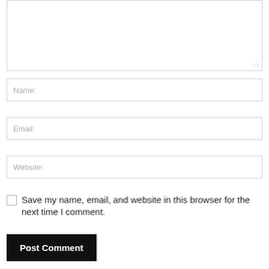[Figure (screenshot): A comment form with a large textarea at the top (partially visible, showing resize handle), followed by Name, Email, and Website input fields, a checkbox labeled 'Save my name, email, and website in this browser for the next time I comment.', a black 'Post Comment' button, and a partial text line at the bottom reading 'We are glad you have chosen to leave a comment. Please keep']
Name:
Email:
Website:
Save my name, email, and website in this browser for the next time I comment.
Post Comment
We are glad you have chosen to leave a comment. Please keep